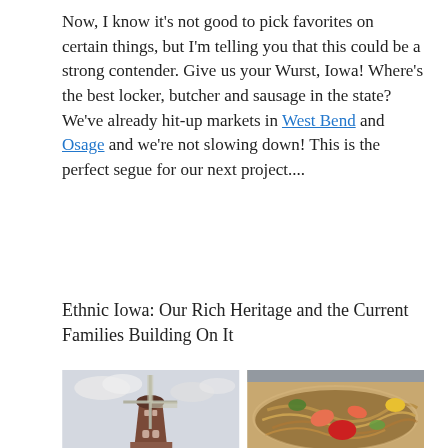Now, I know it's not good to pick favorites on certain things, but I'm telling you that this could be a strong contender. Give us your Wurst, Iowa! Where's the best locker, butcher and sausage in the state? We've already hit-up markets in West Bend and Osage and we're not slowing down! This is the perfect segue for our next project....
Ethnic Iowa: Our Rich Heritage and the Current Families Building On It
[Figure (photo): Two photos side by side: left shows a Dutch windmill against a cloudy sky; right shows a plate of Asian noodles with shrimp and colorful vegetables.]